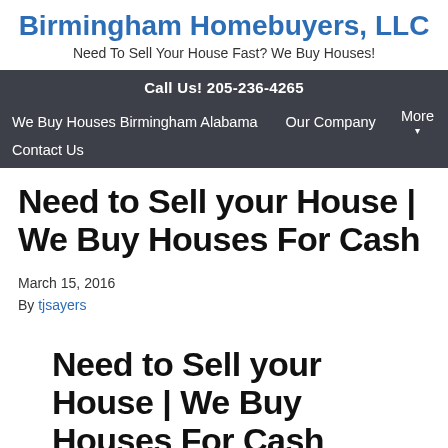Birmingham Homebuyers, LLC
Need To Sell Your House Fast? We Buy Houses!
Call Us! 205-236-4265
We Buy Houses Birmingham Alabama   Our Company   More   Contact Us
Need to Sell your House | We Buy Houses For Cash
March 15, 2016
By tjsayers
Need to Sell your House | We Buy Houses For Cash